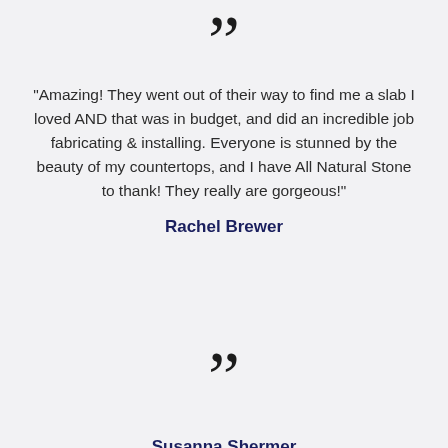[Figure (illustration): Large closing quotation mark decorative element]
"Amazing! They went out of their way to find me a slab I loved AND that was in budget, and did an incredible job fabricating & installing. Everyone is stunned by the beauty of my countertops, and I have All Natural Stone to thank! They really are gorgeous!"
Rachel Brewer
[Figure (illustration): Large closing quotation mark decorative element]
Susanna Shermer